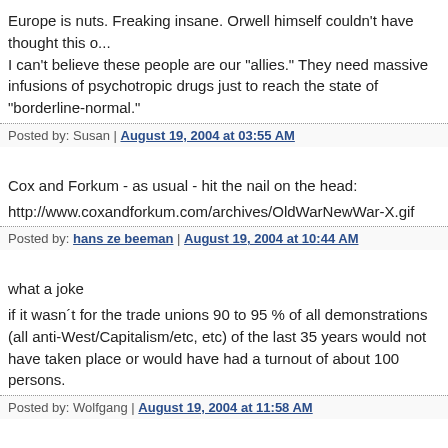Europe is nuts. Freaking insane. Orwell himself couldn't have thought this o... I can't believe these people are our "allies." They need massive infusions of psychotropic drugs just to reach the state of "borderline-normal."
Posted by: Susan | August 19, 2004 at 03:55 AM
Cox and Forkum - as usual - hit the nail on the head:
http://www.coxandforkum.com/archives/OldWarNewWar-X.gif
Posted by: hans ze beeman | August 19, 2004 at 10:44 AM
what a joke
if it wasn´t for the trade unions 90 to 95 % of all demonstrations (all anti-West/Capitalism/etc, etc) of the last 35 years would not have taken place or would have had a turnout of about 100 persons.
Posted by: Wolfgang | August 19, 2004 at 11:58 AM
I'm all for socialism, as a primary step towards communism. And trade union... a necesary step for both.
They couldn't take it any more possible to sit it in and some...